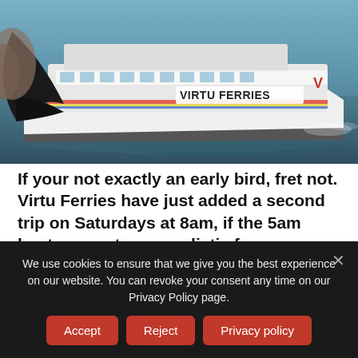[Figure (photo): A Virtu Ferries high-speed catamaran ferry on the water, photographed from the front-side angle. The ferry is white with the VIRTU FERRIES logo visible on the hull, and a large black curved foil/wing visible at the front.]
If your not exactly an early bird, fret not. Virtu Ferries have just added a second trip on Saturdays at 8am, if the 5am boat seems too unrealistic for you.
And if that isn't enough to have you running for your beach bag, how about a couple of passenger tickets for you and your bestie, on the house!
We use cookies to ensure that we give you the best experience on our website. You can revoke your consent any time on our Privacy Policy page.